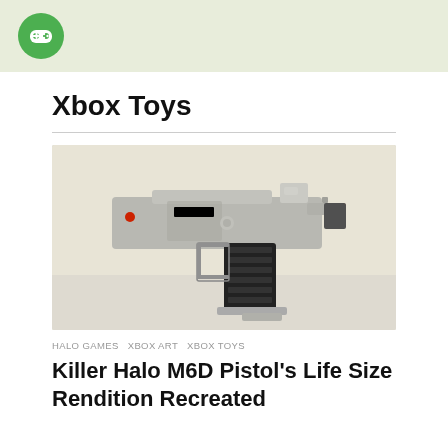Xbox Toys (logo header bar)
Xbox Toys
[Figure (photo): A life-size LEGO recreation of the Halo M6D Pistol, showing a grey and black pistol built from LEGO bricks, displayed against a light background.]
HALO GAMES  XBOX ART  XBOX TOYS
Killer Halo M6D Pistol's Life Size Rendition Recreated